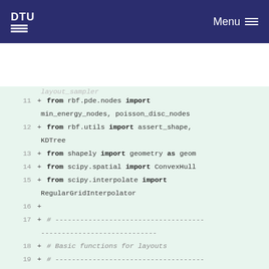DTU Menu
[Figure (screenshot): Code diff viewer showing Python import statements and function definition for sample_layout_in_circle, lines 11-23, with green background indicating added lines]
11 + from rbf.pde.nodes import min_energy_nodes, poisson_disc_nodes
12 + from rbf.utils import assert_shape, KDTree
13 + from shapely import geometry as geom
14 + from scipy.spatial import ConvexHull
15 + from scipy.interpolate import RegularGridInterpolator
16 +
17 + # -------------------------------------------------------
18 + # Basic functions for layouts
19 + # -------------------------------------------------------
20 + def sample_layout_in_circle(D,N,seed,
21 +                               D_WT=1, return_borders=False):
22 +     '''
23 +